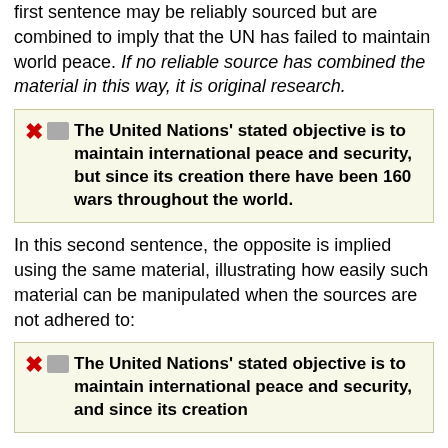first sentence may be reliably sourced but are combined to imply that the UN has failed to maintain world peace. If no reliable source has combined the material in this way, it is original research.
✗ The United Nations' stated objective is to maintain international peace and security, but since its creation there have been 160 wars throughout the world.
In this second sentence, the opposite is implied using the same material, illustrating how easily such material can be manipulated when the sources are not adhered to:
✗ The United Nations' stated objective is to maintain international peace and security, and since its creation